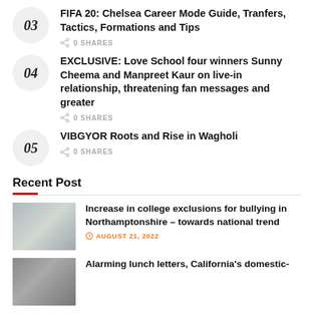03 FIFA 20: Chelsea Career Mode Guide, Tranfers, Tactics, Formations and Tips – 0 SHARES
04 EXCLUSIVE: Love School four winners Sunny Cheema and Manpreet Kaur on live-in relationship, threatening fan messages and greater – 0 SHARES
05 VIBGYOR Roots and Rise in Wagholi – 0 SHARES
Recent Post
Increase in college exclusions for bullying in Northamptonshire – towards national trend – AUGUST 21, 2022
Alarming lunch letters, California's domestic-